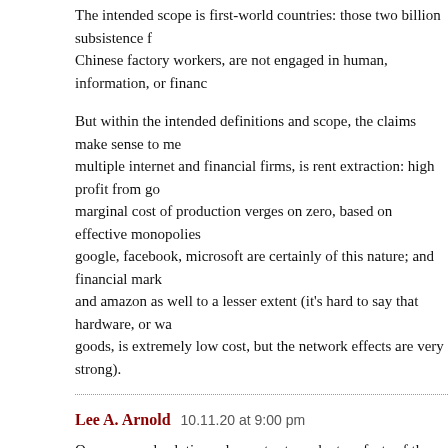The intended scope is first-world countries: those two billion subsistence farmers, or Chinese factory workers, are not engaged in human, information, or financ…
But within the intended definitions and scope, the claims make sense to me… multiple internet and financial firms, is rent extraction: high profit from go… marginal cost of production verges on zero, based on effective monopolies… google, facebook, microsoft are certainly of this nature; and financial mark… and amazon as well to a lesser extent (it's hard to say that hardware, or wa… goods, is extremely low cost, but the network effects are very strong).
Lee A. Arnold   10.11.20 at 9:00 pm
Our proposed solutions always try to make true facts of these two prior bel… be able to find a job. 2. The total amount of money in existence ought to be… amount of value that there is.
I imagine that both of these are wrong. The capitalist system has been so s… supply enough goods and services to meet everyone's necessities with… everyone. Meanwhile the creation of incomes at the top end of the econom… proportion to the real value that is created by these people, while others sta…